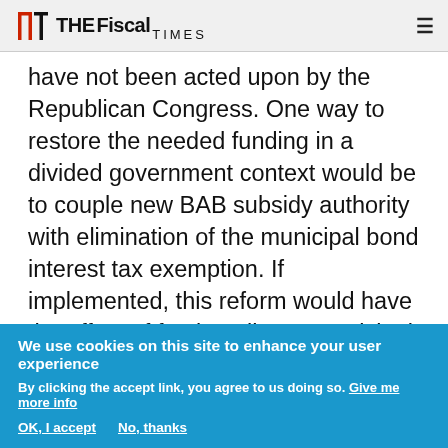THE Fiscal TIMES
have not been acted upon by the Republican Congress. One way to restore the needed funding in a divided government context would be to couple new BAB subsidy authority with elimination of the municipal bond interest tax exemption. If implemented, this reform would have the effect of forcing all new municipal bond issuance into the taxable sector.

A potential risk of this proposal is that Congress
We use cookies on this site to enhance your user experience
By clicking the accept link, you agree to us doing so. Give me more info
OK, I accept   No, thanks